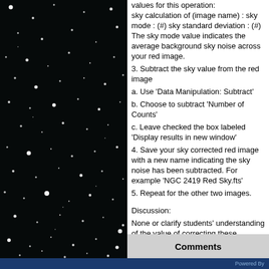[Figure (photo): Black and white astronomical image showing a star field with numerous white stars of varying sizes against a dark black background, likely a globular cluster or galaxy field image.]
values for this operation: sky calculation of (image name) : sky mode : (#) sky standard deviation : (#) The sky mode value indicates the average background sky noise across your red image.
3. Subtract the sky value from the red image
a. Use 'Data Manipulation: Subtract'
b. Choose to subtract 'Number of Counts'
c. Leave checked the box labeled 'Display results in new window'
4. Save your sky corrected red image with a new name indicating the sky noise has been subtracted. For example 'NGC 2419 Red Sky.fts'
5. Repeat for the other two images.
Discussion:
None or clarify students' understanding of the value of correcting these images.
Comments
Powered By